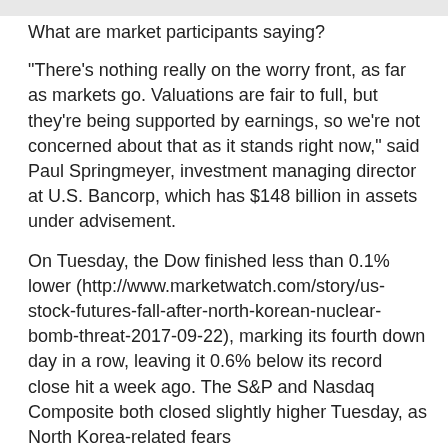What are market participants saying?
"There's nothing really on the worry front, as far as markets go. Valuations are fair to full, but they're being supported by earnings, so we're not concerned about that as it stands right now," said Paul Springmeyer, investment managing director at U.S. Bancorp, which has $148 billion in assets under advisement.
On Tuesday, the Dow finished less than 0.1% lower (http://www.marketwatch.com/story/us-stock-futures-fall-after-north-korean-nuclear-bomb-threat-2017-09-22), marking its fourth down day in a row, leaving it 0.6% below its record close hit a week ago. The S&P and Nasdaq Composite both closed slightly higher Tuesday, as North Korea-related fears (http://www.marketwatch.com/story/trump-us-is-totally-prepared-for-military-option-with-north-korea-2017-09-26) abated.